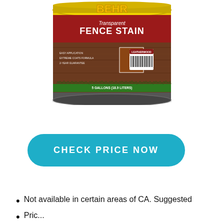[Figure (photo): A large 5-gallon can of Behr Transparent Fence Stain in Leatherwood color. The can is yellow with a red label reading 'Transparent FENCE STAIN'. The label also mentions EASY APPLICATION, EXTREME COATS FORMULA, 2-YEAR GUARANTEE. The can shows a wood fence background with green grass at the bottom. Volume: 5 GALLONS (18.9 LITERS).]
CHECK PRICE NOW
Not available in certain areas of CA. Suggested
...